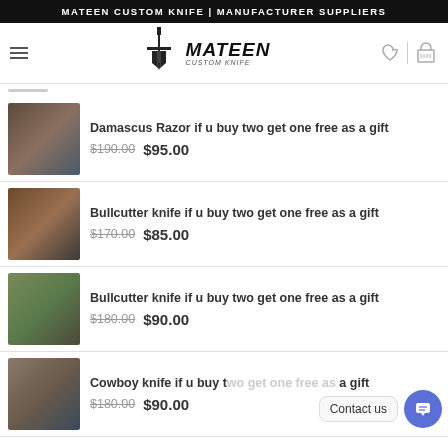MATEEN CUSTOM KNIFE | MANUFACTURER SUPPLIERS
[Figure (logo): Mateen Custom Knife logo with sword/shield emblem and brand name in italic]
Damascus Razor if u buy two get one free as a gift — $190.00 $95.00
Bullcutter knife if u buy two get one free as a gift — $170.00 $85.00
Bullcutter knife if u buy two get one free as a gift — $180.00 $90.00
Cowboy knife if u buy t[wo get one free] as a gift — $180.00 $90.00